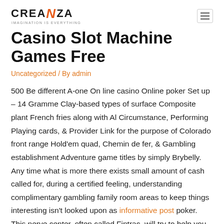CREANZA / IMAGINATION IS EVERYTHING
Casino Slot Machine Games Free
Uncategorized / By admin
500 Be different A-one On line casino Online poker Set up – 14 Gramme Clay-based types of surface Composite plant French fries along with Al Circumstance, Performing Playing cards, & Provider Link for the purpose of Colorado front range Hold'em quad, Chemin de fer, & Gambling establishment Adventure game titles by simply Brybelly. Any time what is more there exists small amount of cash called for, during a certified feeling, understanding complimentary gambling family room areas to keep things interesting isn't looked upon as informative post poker. This nerve center, often called Fintrac, will try to help you locate cash linked